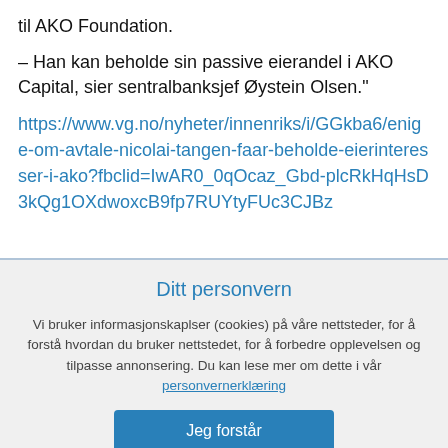til AKO Foundation.
– Han kan beholde sin passive eierandel i AKO Capital, sier sentralbanksjef Øystein Olsen."
https://www.vg.no/nyheter/innenriks/i/GGkba6/enige-om-avtale-nicolai-tangen-faar-beholde-eierinteresser-i-ako?fbclid=IwAR0_0qOcaz_Gbd-plcRkHqHsD3kQg1OXdwoxcB9fp7RUYtyFUc3CJBz
Ditt personvern
Vi bruker informasjonskaplser (cookies) på våre nettsteder, for å forstå hvordan du bruker nettstedet, for å forbedre opplevelsen og tilpasse annonsering. Du kan lese mer om dette i vår personvernerklæring
Jeg forstår
Mer informasjon